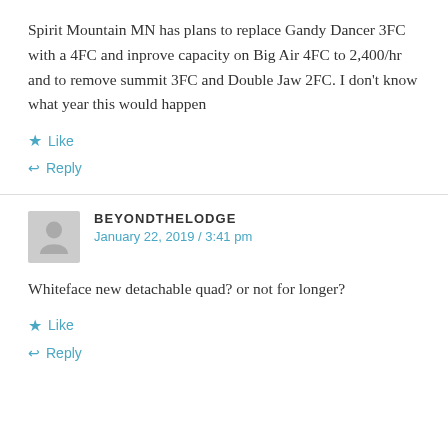Spirit Mountain MN has plans to replace Gandy Dancer 3FC with a 4FC and inprove capacity on Big Air 4FC to 2,400/hr and to remove summit 3FC and Double Jaw 2FC. I don't know what year this would happen
Like
Reply
BEYONDTHELODGE
January 22, 2019 / 3:41 pm
Whiteface new detachable quad? or not for longer?
Like
Reply